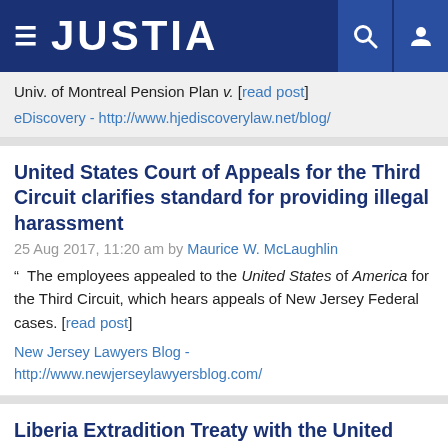JUSTIA
Univ. of Montreal Pension Plan v. [read post]
eDiscovery - http://www.hjediscoverylaw.net/blog/
United States Court of Appeals for the Third Circuit clarifies standard for providing illegal harassment
25 Aug 2017, 11:20 am by Maurice W. McLaughlin
" The employees appealed to the United States of America for the Third Circuit, which hears appeals of New Jersey Federal cases. [read post]
New Jersey Lawyers Blog - http://www.newjerseylawyersblog.com/
Liberia Extradition Treaty with the United States
17 May 2011, 9:00 am by McNabb Associates, P.C.